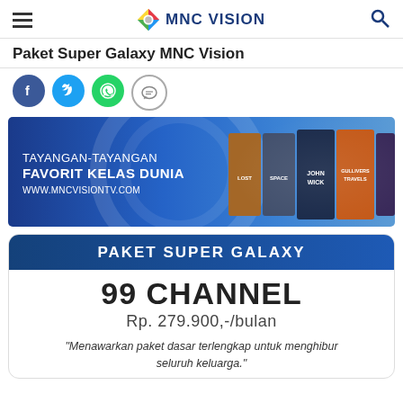MNC VISION
Paket Super Galaxy MNC Vision
[Figure (infographic): Social media share icons: Facebook (blue), Twitter (cyan), WhatsApp (green), Message (white/grey)]
[Figure (infographic): MNC Vision banner showing movie posters on a blue background with text TAYANGAN-TAYANGAN FAVORIT KELAS DUNIA WWW.MNCVISIONTV.COM]
PAKET SUPER GALAXY
99 CHANNEL
Rp. 279.900,-/bulan
"Menawarkan paket dasar terlengkap untuk menghibur seluruh keluarga."